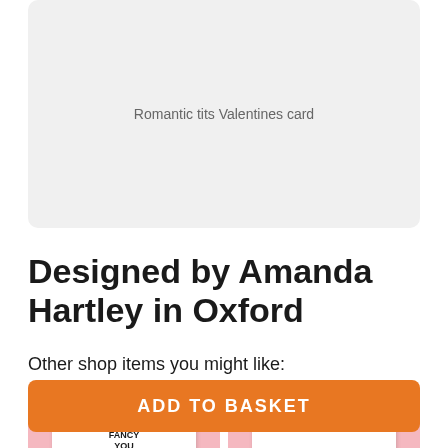[Figure (photo): Product image placeholder box with light grey background showing text 'Romantic tits Valentines card']
Romantic tits Valentines card
Designed by Amanda Hartley in Oxford
Other shop items you might like:
[Figure (photo): Two greeting card product thumbnails on pink backgrounds. Left card reads 'I FONDANT FANCY YOU' with a pink circle. Right card reads 'Kiss Me i love you' with a bracket/apostrophe illustration.]
ADD TO BASKET